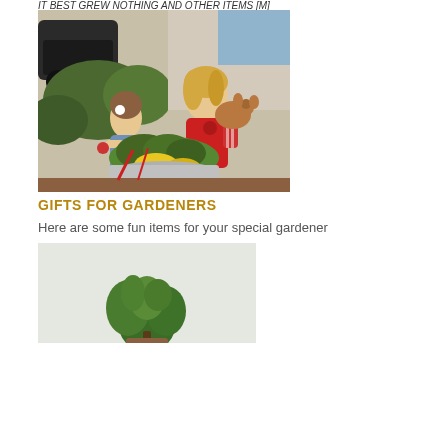IT BEST GREW NOTHING AND OTHER ITEMS [M]
[Figure (photo): A woman in a red top holding a small brown curly dog, leaning over toward a young girl with a flower in her hair. They are both looking at a large metal bowl filled with fresh vegetables including kale, yellow squash, and red chard. A dark vintage car and green foliage are visible in the background.]
GIFTS FOR GARDENERS
Here are some fun items for your special gardener
[Figure (photo): A partial photo showing a green plant or herb (possibly basil) against a light grey/white background.]